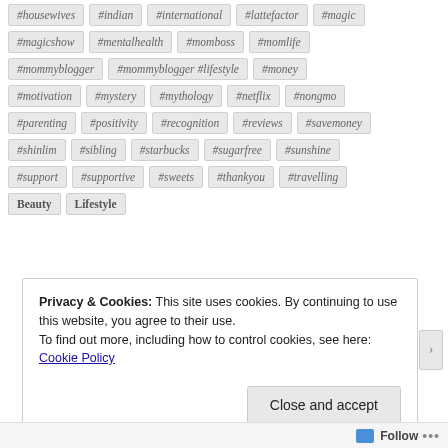#housewives #indian #international #lattefactor #magic
#magicshow #mentalhealth #momboss #momlife
#mommyblogger #mommyblogger #lifestyle #money
#motivation #mystery #mythology #netflix #nongmo
#parenting #positivity #recognition #reviews #savemoney
#shinlim #sibling #starbucks #sugarfree #sunshine
#support #supportive #sweets #thankyou #travelling
Beauty Lifestyle
Privacy & Cookies: This site uses cookies. By continuing to use this website, you agree to their use.
To find out more, including how to control cookies, see here: Cookie Policy
Close and accept
Follow ...